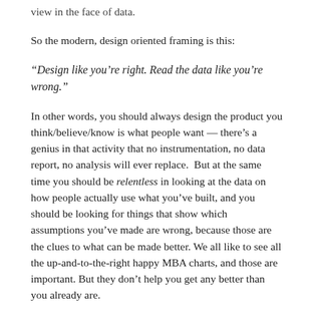view in the face of data.
So the modern, design oriented framing is this:
“Design like you’re right. Read the data like you’re wrong.”
In other words, you should always design the product you think/believe/know is what people want — there’s a genius in that activity that no instrumentation, no data report, no analysis will ever replace.  But at the same time you should be relentless in looking at the data on how people actually use what you’ve built, and you should be looking for things that show which assumptions you’ve made are wrong, because those are the clues to what can be made better. We all like to see all the up-and-to-the-right happy MBA charts, and those are important. But they don’t help you get any better than you already are.
...